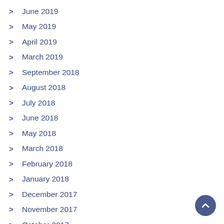June 2019
May 2019
April 2019
March 2019
September 2018
August 2018
July 2018
June 2018
May 2018
March 2018
February 2018
January 2018
December 2017
November 2017
October 2017
September 2017